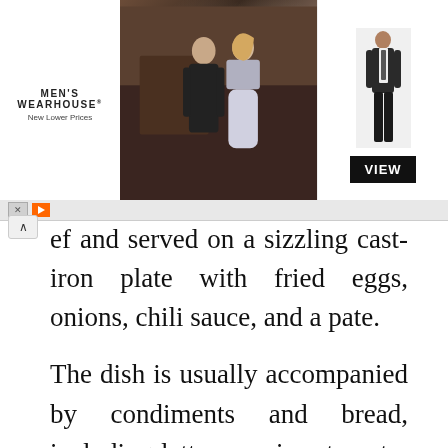[Figure (screenshot): Men's Wearhouse advertisement banner showing a couple in formal wear and a man in a suit, with a VIEW button]
ef and served on a sizzling cast-iron plate with fried eggs, onions, chili sauce, and a pate.
The dish is usually accompanied by condiments and bread, including lettuce, onion, tomato, and cucumber. The meat is usually dipped in a mixture of pepper sauce, lime juice, and salt, while the bread is used to scoop out the rest of the pate and